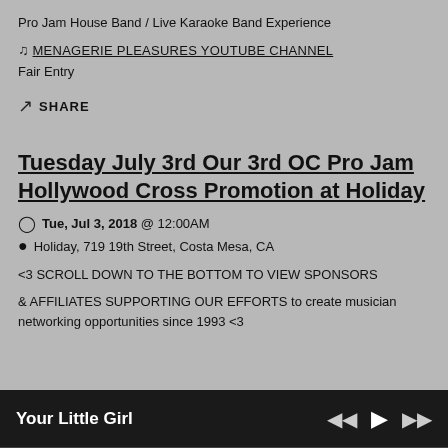Pro Jam House Band / Live Karaoke Band Experience
♫ MENAGERIE PLEASURES YOUTUBE CHANNEL
Fair Entry
↗ SHARE
Tuesday July 3rd Our 3rd OC Pro Jam Hollywood Cross Promotion at Holiday
Tue, Jul 3, 2018 @ 12:00AM
Holiday, 719 19th Street, Costa Mesa, CA
<3 SCROLL DOWN TO THE BOTTOM TO VIEW SPONSORS
& AFFILIATES SUPPORTING OUR EFFORTS to create musician networking opportunities since 1993 <3
Your Little Girl